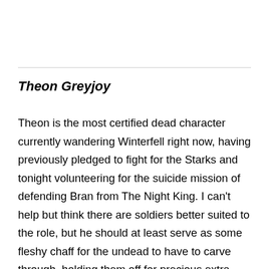Theon Greyjoy
Theon is the most certified dead character currently wandering Winterfell right now, having previously pledged to fight for the Starks and tonight volunteering for the suicide mission of defending Bran from The Night King. I can't help but think there are soldiers better suited to the role, but he should at least serve as some fleshy chaff for the undead to have to carve through, holding them off for precious extra seconds. Theon got all he wanted in— [continues]